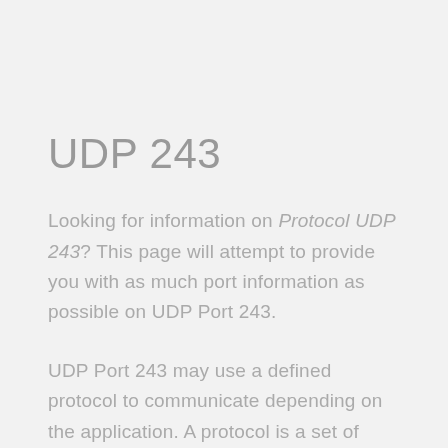UDP 243
Looking for information on Protocol UDP 243? This page will attempt to provide you with as much port information as possible on UDP Port 243.
UDP Port 243 may use a defined protocol to communicate depending on the application. A protocol is a set of